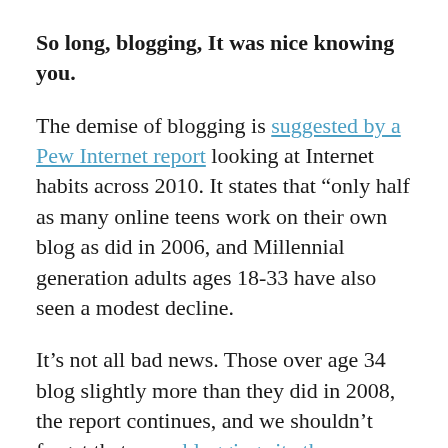So long, blogging, It was nice knowing you.
The demise of blogging is suggested by a Pew Internet report looking at Internet habits across 2010. It states that “only half as many online teens work on their own blog as did in 2006, and Millennial generation adults ages 18-33 have also seen a modest decline.
It’s not all bad news. Those over age 34 blog slightly more than they did in 2008, the report continues, and we shouldn’t forget that news blogging site the Huffington Post just sold for $315 million. But there’s little doubt that blogging isn’t the fresh young thing it was five years ago, back when having an RSS feed reader to track blogs was the height of coffee-shop sophistication. There are [continues]